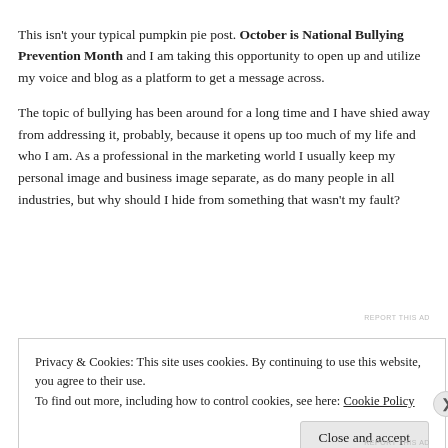This isn't your typical pumpkin pie post. October is National Bullying Prevention Month and I am taking this opportunity to open up and utilize my voice and blog as a platform to get a message across.
The topic of bullying has been around for a long time and I have shied away from addressing it, probably, because it opens up too much of my life and who I am. As a professional in the marketing world I usually keep my personal image and business image separate, as do many people in all industries, but why should I hide from something that wasn't my fault?
REPORT THIS AD
Privacy & Cookies: This site uses cookies. By continuing to use this website, you agree to their use.
To find out more, including how to control cookies, see here: Cookie Policy
Close and accept
REPORT THIS AD